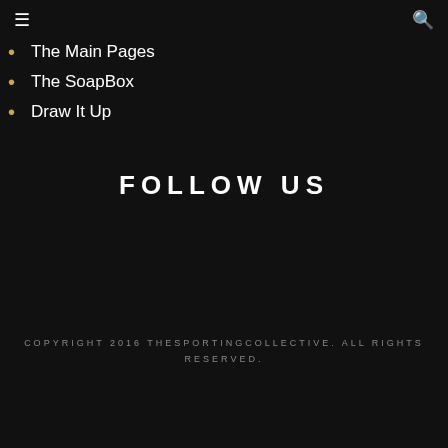≡ 🔍
The Main Pages
The SoapBox
Draw It Up
FOLLOW US
COPYRIGHT 2016 THESPORTINGCOLLECTIVE. ALL RIGHTS RESERVED.